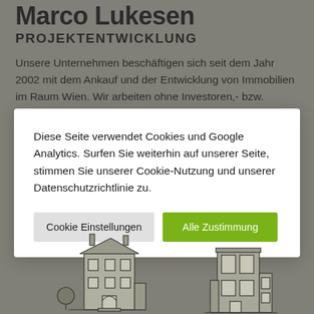Marco Lukesen
PROJEKTENTWICKLUNG
Unsere Unternehmen beschäftigen sich seit dem Jahr 2002 mit dem Ankauf und der Entwicklung von Immobilien im Raum Wien. Wir arbeiten ohne Investoren,- bzw. sonstigem Umweg, mit dem Ziel, feine eigene Projekte...
Diese Seite verwendet Cookies und Google Analytics. Surfen Sie weiterhin auf unserer Seite, stimmen Sie unserer Cookie-Nutzung und unserer Datenschutzrichtlinie zu.
[Figure (screenshot): Cookie consent modal with two buttons: 'Cookie Einstellungen' (grey) and 'Alle Zustimmung' (green)]
[Figure (illustration): Line illustration of two buildings: a classic multi-story building on the left and a modern building on the right, both drawn in dark outline style on grey background]